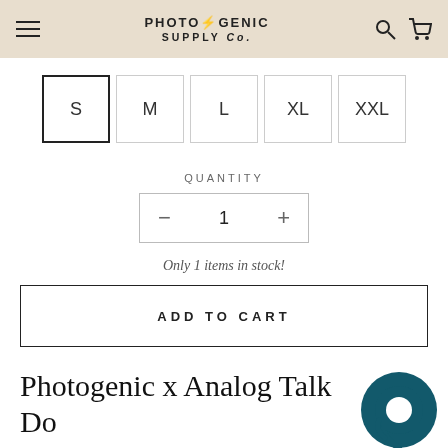PHOTO/GENIC SUPPLY Co.
S M L XL XXL
QUANTITY
- 1 +
Only 1 items in stock!
ADD TO CART
Photogenic x Analog Talk Do Island T-Shirt